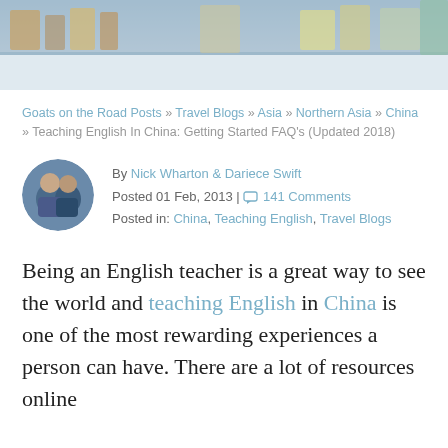[Figure (photo): Top portion of a photograph showing what appears to be shelves or a store/classroom setting with colorful items]
Goats on the Road Posts » Travel Blogs » Asia » Northern Asia » China » Teaching English In China: Getting Started FAQ's (Updated 2018)
[Figure (photo): Circular avatar photo of two people (Nick Wharton and Dariece Swift) posing together outdoors]
By Nick Wharton & Dariece Swift
Posted 01 Feb, 2013 | 141 Comments
Posted in: China, Teaching English, Travel Blogs
Being an English teacher is a great way to see the world and teaching English in China is one of the most rewarding experiences a person can have. There are a lot of resources online